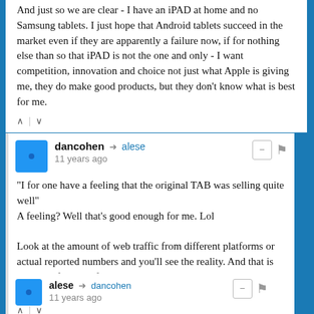And just so we are clear - I have an iPAD at home and no Samsung tablets. I just hope that Android tablets succeed in the market even if they are apparently a failure now, if for nothing else than so that iPAD is not the one and only - I want competition, innovation and choice not just what Apple is giving me, they do make good products, but they don't know what is best for me.
dancohen → alese
11 years ago
"I for one have a feeling that the original TAB was selling quite well"
A feeling? Well that's good enough for me. Lol

Look at the amount of web traffic from different platforms or actual reported numbers and you'll see the reality. And that is based on facts not feelings.
Sent from my iPod
alese → dancohen
11 years ago